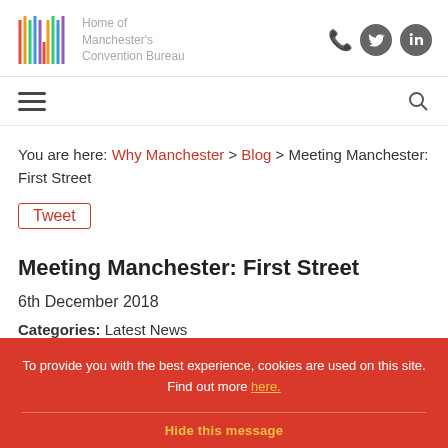Home of Manchester's Convention Bureau
You are here: Why Manchester > Blog > Meeting Manchester: First Street
Tweet
Meeting Manchester: First Street
6th December 2018
Categories: Latest News
To provide you with the best experience, cookies are used on this site. Find out more here.
Hide this message